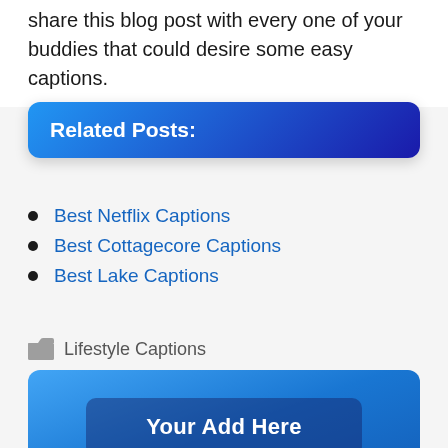share this blog post with every one of your buddies that could desire some easy captions.
Related Posts:
Best Netflix Captions
Best Cottagecore Captions
Best Lake Captions
Lifestyle Captions
[Figure (other): Advertisement banner with text 'Your Add Here' on a blue gradient background]